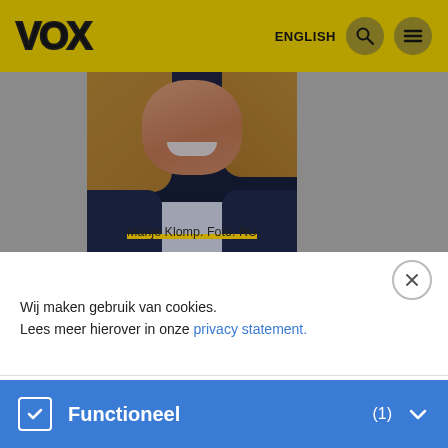VOX  ENGLISH
[Figure (photo): Portrait photo of Marije Klomp, a woman with blonde hair wearing a navy blazer and white top, smiling]
Marije Klomp. Foto: RU
Cookies & Privacy
Wij maken gebruik van cookies. Lees meer hierover in onze privacy statement.
Functioneel (1)